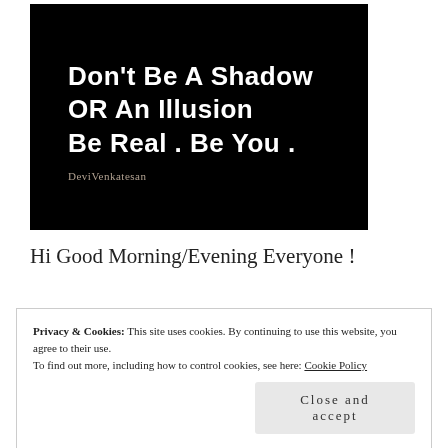[Figure (illustration): Black background image with white bold text quote: 'Don't Be A Shadow OR An Illusion Be Real . Be You .' with author name 'DeviVenkatesan' in smaller brownish text below.]
Hi Good Morning/Evening Everyone !
Privacy & Cookies: This site uses cookies. By continuing to use this website, you agree to their use. To find out more, including how to control cookies, see here: Cookie Policy